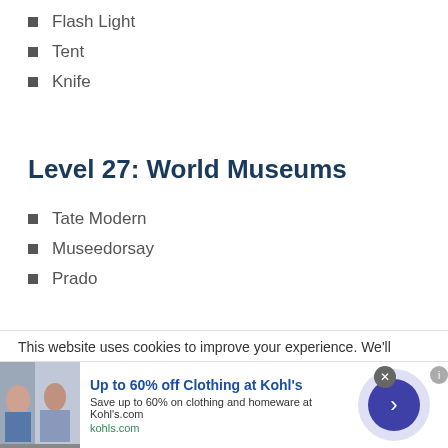Flash Light
Tent
Knife
Level 27: World Museums
Tate Modern
Museedorsay
Prado
This website uses cookies to improve your experience. We'll
[Figure (infographic): Advertisement banner: Up to 60% off Clothing at Kohl's. Save up to 60% on clothing and homeware at Kohl's.com. kohls.com. Shows image of people in clothing, a close button, and a navigation arrow.]